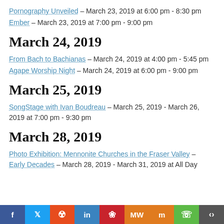Pornography Unveiled – March 23, 2019 at 6:00 pm - 8:30 pm
Ember – March 23, 2019 at 7:00 pm - 9:00 pm
March 24, 2019
From Bach to Bachianas – March 24, 2019 at 4:00 pm - 5:45 pm
Agape Worship Night – March 24, 2019 at 6:00 pm - 9:00 pm
March 25, 2019
SongStage with Ivan Boudreau – March 25, 2019 - March 26, 2019 at 7:00 pm - 9:30 pm
March 28, 2019
Photo Exhibition: Mennonite Churches in the Fraser Valley – Early Decades – March 28, 2019 - March 31, 2019 at All Day
Social share bar: Facebook, Twitter, Reddit, LinkedIn, Pinterest, MeWe, Mix, WhatsApp, Share